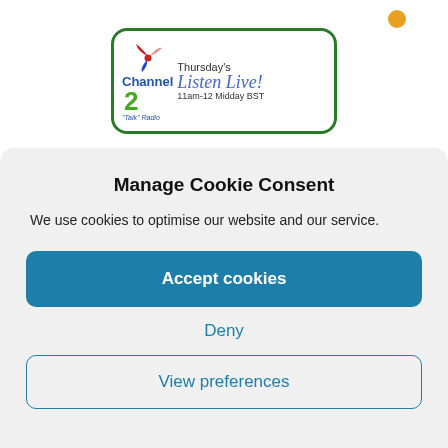[Figure (logo): Channel 2 Talk Radio logo with pinwheel icon, green border, text reading: Thursday's Listen Live! 11am-12 Midday BST]
Manage Cookie Consent
We use cookies to optimise our website and our service.
Accept cookies
Deny
View preferences